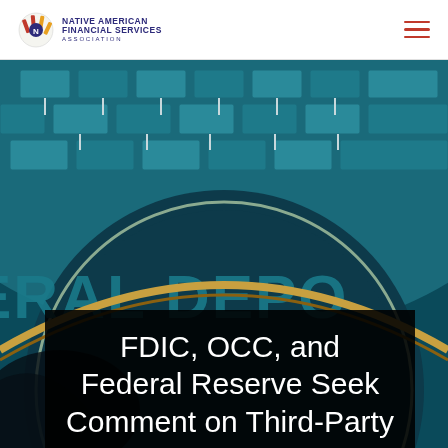NATIVE AMERICAN FINANCIAL SERVICES ASSOCIATION
[Figure (photo): Close-up photo of the FDIC (Federal Deposit Insurance Corporation) seal medallion with teal/blue stonework arch in the background]
FDIC, OCC, and Federal Reserve Seek Comment on Third-Party Relationships